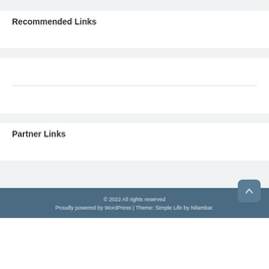Recommended Links
Partner Links
© 2022 All rights reserved
Proudly powered by WordPress | Theme: Simple Life by Nilambar.